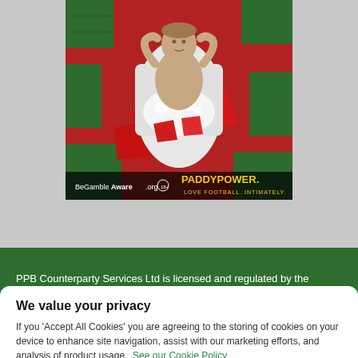[Figure (photo): Paddy Power advertisement showing a shirtless man lying in a bathtub surrounded by red and green decorations. Bottom of image shows 'BeGambleAware.org' logo and 'PADDYPOWER. LOVE FOOTBALL. INTIMATELY.' text.]
PPB Counterparty Services Ltd is licensed and regulated by the
We value your privacy
If you 'Accept All Cookies' you are agreeing to the storing of cookies on your device to enhance site navigation, assist with our marketing efforts, and analysis of product usage. See our Cookie Policy